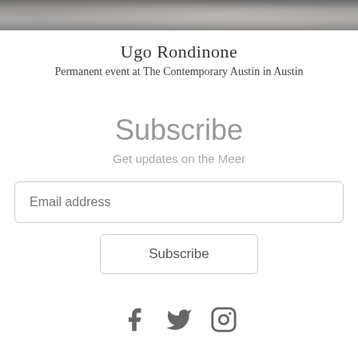[Figure (photo): Partial image of a stone or rock surface, cropped at the top of the page]
Ugo Rondinone
Permanent event at The Contemporary Austin in Austin
Subscribe
Get updates on the Meer
Email address
Subscribe
[Figure (infographic): Social media icons: Facebook, Twitter, Instagram]